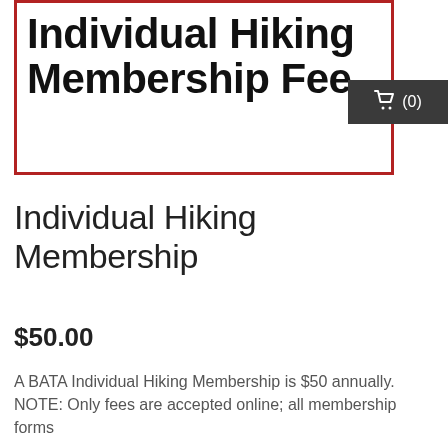[Figure (other): Product image box with red border containing bold text 'Individual Hiking Membership Fee' and a dark cart overlay icon showing (0)]
Individual Hiking Membership
$50.00
A BATA Individual Hiking Membership is $50 annually. NOTE: Only fees are accepted online; all membership forms